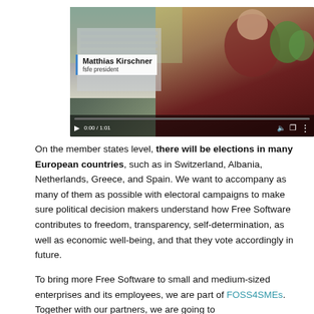[Figure (screenshot): Video player screenshot showing Matthias Kirschner, fsfe president, standing outside a building. The video controls show 0:00 / 1:01 duration. Name label overlay in lower-left of video frame.]
On the member states level, there will be elections in many European countries, such as in Switzerland, Albania, Netherlands, Greece, and Spain. We want to accompany as many of them as possible with electoral campaigns to make sure political decision makers understand how Free Software contributes to freedom, transparency, self-determination, as well as economic well-being, and that they vote accordingly in future.
To bring more Free Software to small and medium-sized enterprises and its employees, we are part of FOSS4SMEs. Together with our partners, we are going to